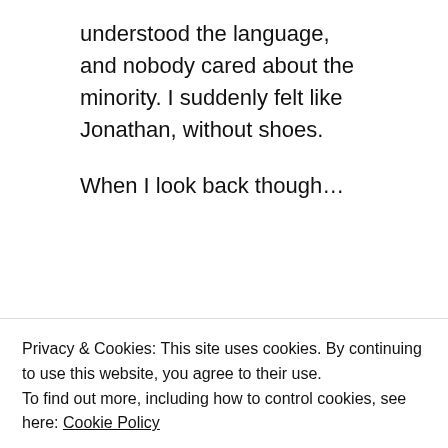understood the language, and nobody cared about the minority. I suddenly felt like Jonathan, without shoes.
When I look back though…
[Figure (photo): A young Black man with glasses seen in profile view against an outdoor background with grass, trees, and buildings under a cloudy sky.]
Privacy & Cookies: This site uses cookies. By continuing to use this website, you agree to their use.
To find out more, including how to control cookies, see here: Cookie Policy
Close and accept